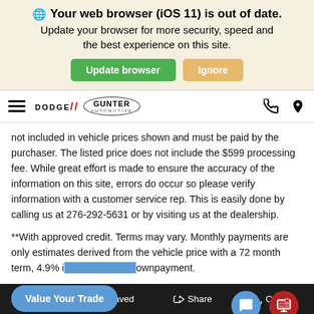[Figure (screenshot): Browser out-of-date warning banner with globe icon, bold text 'Your web browser (iOS 11) is out of date.', subtitle text, and two buttons: green 'Update browser' and gold 'Ignore']
[Figure (screenshot): Navigation bar with hamburger menu, Dodge and Gunter Automotive logos, phone icon, and location pin icon]
not included in vehicle prices shown and must be paid by the purchaser. The listed price does not include the $599 processing fee. While great effort is made to ensure the accuracy of the information on this site, errors do occur so please verify information with a customer service rep. This is easily done by calling us at 276-292-5631 or by visiting us at the dealership.
**With approved credit. Terms may vary. Monthly payments are only estimates derived from the vehicle price with a 72 month term, 4.9% i... ...ownpayment.
...ay vary significantly between we... d de...
[Figure (screenshot): Floating 'Value Your Trade' button (blue rounded pill), chat bubble button (blue circle), and chat/screen button (red circle)]
Filter   Saved   Share   Co...t